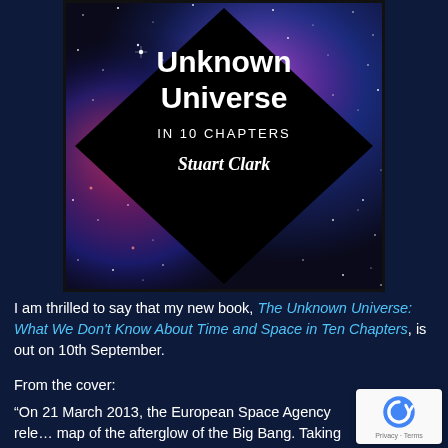[Figure (illustration): Book cover of 'The Unknown Universe in 10 Chapters' by Stuart Clark. Space/galaxy background with purple, blue, pink nebula and stars. A large black diamond shape overlaid in center with white text: 'Unknown Universe IN 10 CHAPTERS Stuart Clark'.]
I am thrilled to say that my new book, The Unknown Universe: What We Don't Know About Time and Space in Ten Chapters, is out on 10th September.
From the cover:
“On 21 March 2013, the European Space Agency rele… map of the afterglow of the Big Bang. Taking in 440 … kilometres of space and 13.8 billion years of time, it is…